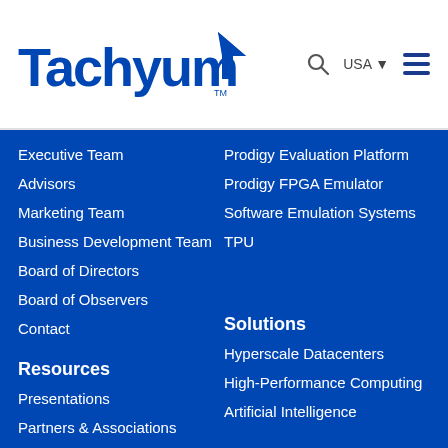Tachyum
Executive Team
Advisors
Marketing Team
Business Development Team
Board of Directors
Board of Observers
Contact
Prodigy Evaluation Platform
Prodigy FPGA Emulator
Software Emulation Systems
TPU
Resources
Solutions
Presentations
Hyperscale Datacenters
Partners & Associations
High-Performance Computing
Software Ecosystem
Artificial Intelligence